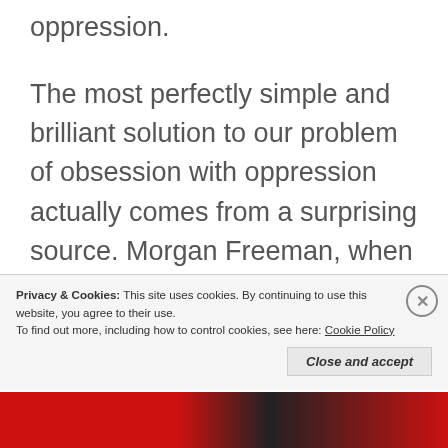oppression.
The most perfectly simple and brilliant solution to our problem of obsession with oppression actually comes from a surprising source. Morgan Freeman, when asked how we are to get rid of racism, responded simply, “Stop talking about it.”
This is all we have to do to overcome
Privacy & Cookies: This site uses cookies. By continuing to use this website, you agree to their use.
To find out more, including how to control cookies, see here: Cookie Policy
Close and accept